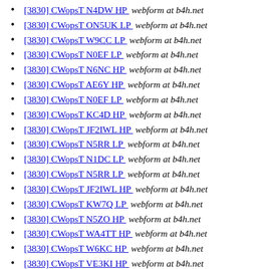[3830] CWopsT N4DW HP  webform at b4h.net
[3830] CWopsT ON5UK LP  webform at b4h.net
[3830] CWopsT W9CC LP  webform at b4h.net
[3830] CWopsT N0EF LP  webform at b4h.net
[3830] CWopsT N6NC HP  webform at b4h.net
[3830] CWopsT AE6Y HP  webform at b4h.net
[3830] CWopsT N0EF LP  webform at b4h.net
[3830] CWopsT KC4D HP  webform at b4h.net
[3830] CWopsT JF2IWL HP  webform at b4h.net
[3830] CWopsT N5RR LP  webform at b4h.net
[3830] CWopsT N1DC LP  webform at b4h.net
[3830] CWopsT N5RR LP  webform at b4h.net
[3830] CWopsT JF2IWL HP  webform at b4h.net
[3830] CWopsT KW7Q LP  webform at b4h.net
[3830] CWopsT N5ZO HP  webform at b4h.net
[3830] CWopsT WA4TT HP  webform at b4h.net
[3830] CWopsT W6KC HP  webform at b4h.net
[3830] CWopsT VE3KI HP  webform at b4h.net
[3830] CWopsT F6HKA HP  webform at b4h.net
[3830] CWopsT F6HKA HP  webform at b4h.net
[3830] CWopsT SM6CUK HP  webform at b4h.net
[3830] CWopsT SM6CUK HP  webform at b4h.net
[3830] CWopsT N8XX QRP  webform at b4h.net
[3830] CWopsT AD6E HP  webform at b4h.net
[3830] CWopsT K4BAI HP  webform at b4h.net
[3830] CWopsT ...  webform at b4h.net